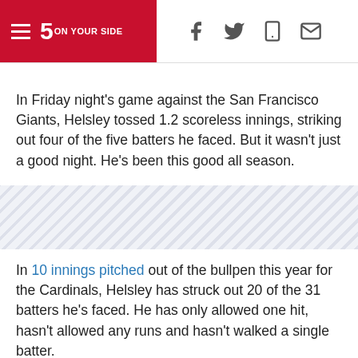5 ON YOUR SIDE
In Friday night's game against the San Francisco Giants, Helsley tossed 1.2 scoreless innings, striking out four of the five batters he faced. But it wasn't just a good night. He's been this good all season.
[Figure (other): Diagonal stripe decorative banner/advertisement placeholder]
In 10 innings pitched out of the bullpen this year for the Cardinals, Helsley has struck out 20 of the 31 batters he's faced. He has only allowed one hit, hasn't allowed any runs and hasn't walked a single batter.
This is another level of domination.
According to FanGraphs, Helsley has the second-most WAR (wins above replacement) of any reliever in baseball at 0.6.